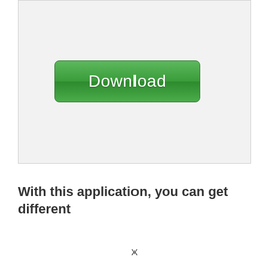[Figure (screenshot): Screenshot of a software interface showing a green Download button centered in a light gray rectangular area]
With this application, you can get different
x